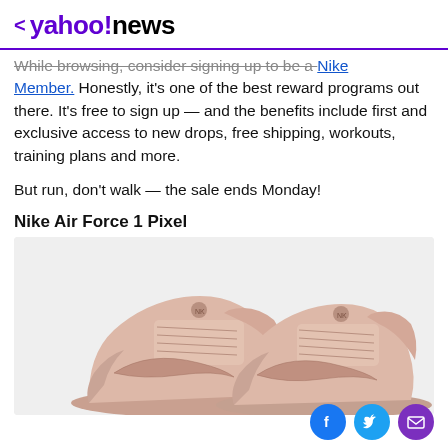< yahoo!news
While browsing, consider signing up to be a Nike Member. Honestly, it's one of the best reward programs out there. It's free to sign up — and the benefits include first and exclusive access to new drops, free shipping, workouts, training plans and more.
But run, don't walk — the sale ends Monday!
Nike Air Force 1 Pixel
[Figure (photo): Two pink Nike Air Force 1 Pixel sneakers photographed from a slightly elevated angle on a light grey background.]